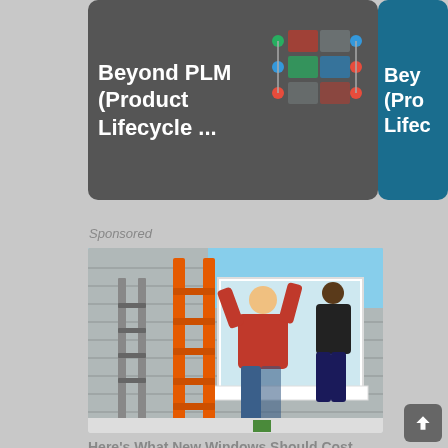[Figure (screenshot): Two partial card thumbnails visible at top. Left card is dark gray with text 'Beyond PLM (Product Lifecycle ...' and a small diagram. Right card is partially visible teal/blue with text 'Bey (Pro Lifec'.]
Sponsored
[Figure (photo): Photo of workers installing a window on a house. Orange ladder in foreground, worker in red shirt reaching up to install window frame, gray siding visible.]
Here's What New Windows Should Cost You In 2022